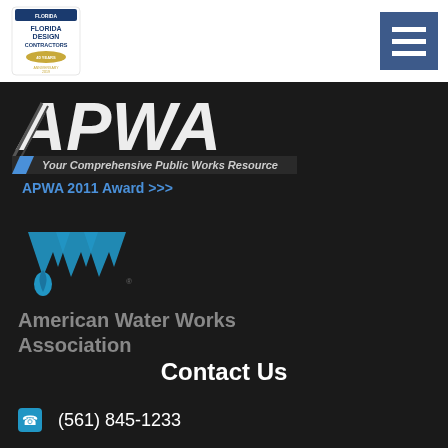[Figure (logo): Florida Design Contractors 40 Years Anniversary 2019 logo with Florida state outline]
[Figure (logo): Hamburger menu icon (three horizontal lines) on dark blue square background]
[Figure (logo): APWA logo with large stylized APWA letters and tagline 'Your Comprehensive Public Works Resource']
APWA 2011 Award >>>
[Figure (logo): American Water Works Association logo with blue triple-chevron/drop icon]
American Water Works Association
Contact Us
(561) 845-1233